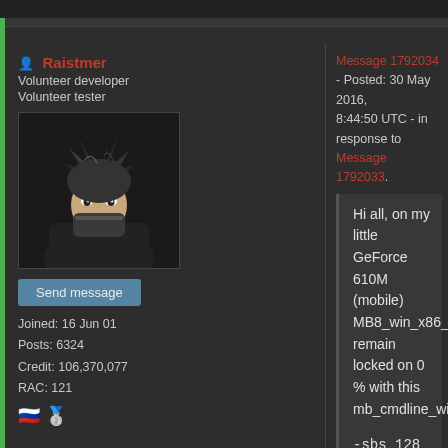Raistmer
Volunteer developer
Volunteer tester
[Figure (illustration): Anime-style avatar of a character with spiky black/grey hair and a dark mask/outfit]
Send message
Joined: 16 Jun 01
Posts: 6324
Credit: 106,370,077
RAC: 121
Message 1792034 - Posted: 30 May 2016, 8:44:50 UTC - in response to Message 1792033.
Hi all, on my little GeForce 610M (mobile) MB8_win_x86_SSE3_OpenCL_NV_r3430_SoG remain locked on 0 % with this mb_cmdline_win_x86_SSE3_OpenCL_NV:
-sbs 128 -spike_fft_thresh 2048 -tune 1 2 1 16 -hp -cpu_lock -total_GPU_instances_num 1 -period_iterations_num 500